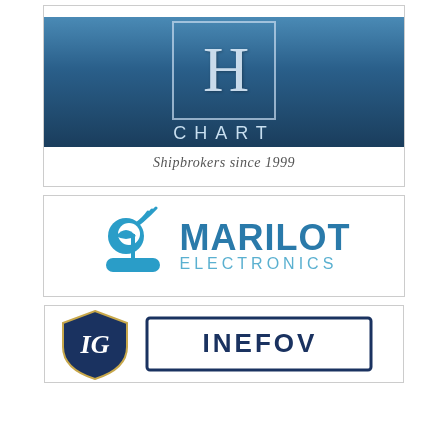[Figure (logo): H CHART Shipbrokers since 1999 logo — letter H in a bordered box on a blue ocean-water background, with 'CHART' text below and italic tagline 'Shipbrokers since 1999']
[Figure (logo): MARILOT ELECTRONICS logo — teal colored satellite/boat icon on the left, with 'MARILOT' in large dark teal text and 'ELECTRONICS' in lighter teal smaller text]
[Figure (logo): Inefov logo — dark navy shield emblem on the left with stylized letters, and 'INEFOV' text in a navy bordered box on the right (partially visible)]